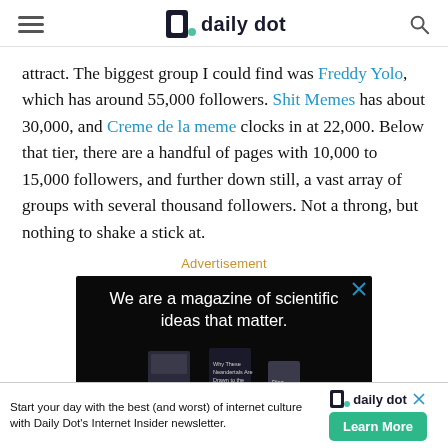daily dot
attract. The biggest group I could find was Freddy Yolo, which has around 55,000 followers. Shit Memes has about 30,000, and Creme de la meme clocks in at 22,000. Below that tier, there are a handful of pages with 10,000 to 15,000 followers, and further down still, a vast array of groups with several thousand followers. Not a throng, but nothing to shake a stick at.
Advertisement
[Figure (screenshot): Advertisement banner with black background reading 'We are a magazine of scientific ideas that matter.' with magazine images below]
[Figure (screenshot): Bottom banner ad for Daily Dot Internet Insider newsletter with 'Start your day with the best (and worst) of internet culture with Daily Dot's Internet Insider newsletter.' and a 'Learn More' button]